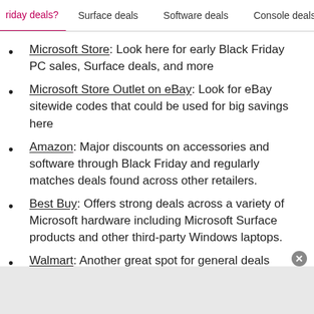...riday deals? | Surface deals | Software deals | Console deals
Microsoft Store: Look here for early Black Friday PC sales, Surface deals, and more
Microsoft Store Outlet on eBay: Look for eBay sitewide codes that could be used for big savings here
Amazon: Major discounts on accessories and software through Black Friday and regularly matches deals found across other retailers.
Best Buy: Offers strong deals across a variety of Microsoft hardware including Microsoft Surface products and other third-party Windows laptops.
Walmart: Another great spot for general deals